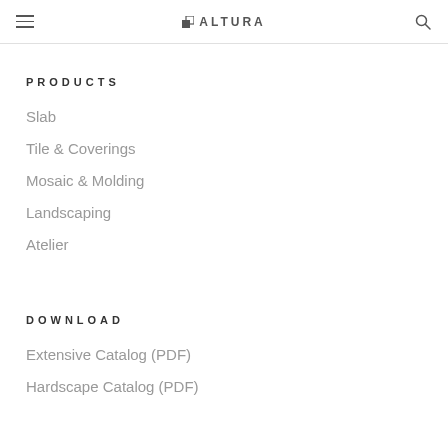≡  ALTURA  🔍
PRODUCTS
Slab
Tile & Coverings
Mosaic & Molding
Landscaping
Atelier
DOWNLOAD
Extensive Catalog (PDF)
Hardscape Catalog (PDF)
LEARN MORE